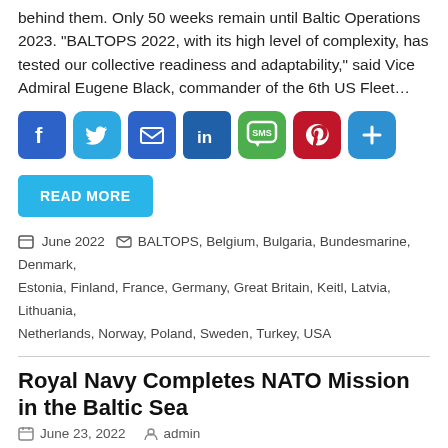behind them. Only 50 weeks remain until Baltic Operations 2023. “BALTOPS 2022, with its high level of complexity, has tested our collective readiness and adaptability,” said Vice Admiral Eugene Black, commander of the 6th US Fleet…
[Figure (infographic): Social sharing buttons: Facebook, Twitter, Email, LinkedIn, SMS, Pinterest, Share (plus icon)]
READ MORE
▢ June 2022  🏷 BALTOPS, Belgium, Bulgaria, Bundesmarine, Denmark, Estonia, Finland, France, Germany, Great Britain, Keitl, Latvia, Lithuania, Netherlands, Norway, Poland, Sweden, Turkey, USA
Royal Navy Completes NATO Mission in the Baltic Sea
📅 June 23, 2022   👤 admin
Royal Navy warships